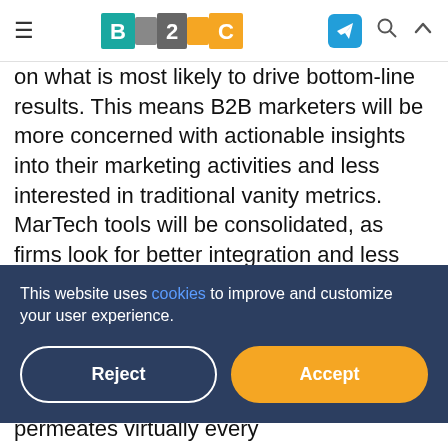B2C logo with hamburger menu and navigation icons
on what is most likely to drive bottom-line results. This means B2B marketers will be more concerned with actionable insights into their marketing activities and less interested in traditional vanity metrics. MarTech tools will be consolidated, as firms look for better integration and less waste. Lean principles such as iteration, testing and continuous improvement will become more of an emphasis. As more firms realize marketing's value and untapped potential for greater contribution to bottom-line success, B2B
This website uses cookies to improve and customize your user experience.
If there is a business concept that permeates virtually every